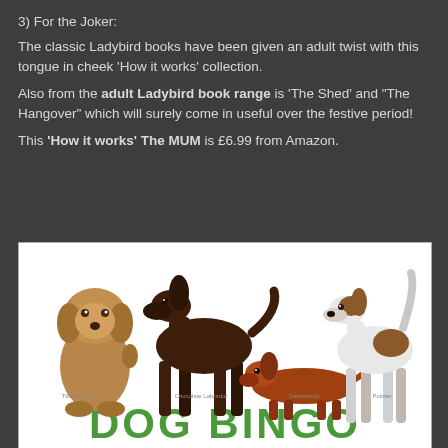3) For the Joker:
The classic Ladybird books have been given an adult twist with this tongue in cheek 'How it works' collection.
Also from the adult Ladybird book range is 'The Shed' and "The Hangover" which will surely come in useful over the festive period!
This 'How it works' The MUM is £6.99 from Amazon.
[Figure (photo): Dog Bingo book cover showing four dog breeds (fluffy brown dog, dark brown standing dog, dachshund, and pointer/hound) with 'DOG BINGO' text in large green letters at the bottom]